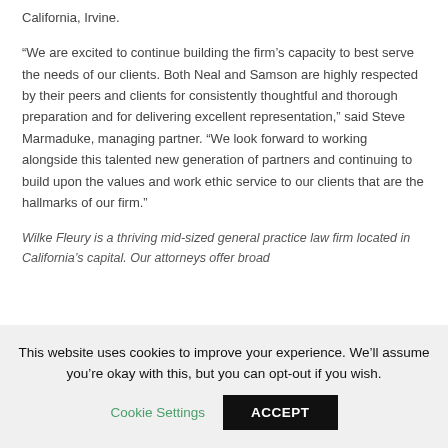California, Irvine.
“We are excited to continue building the firm’s capacity to best serve the needs of our clients. Both Neal and Samson are highly respected by their peers and clients for consistently thoughtful and thorough preparation and for delivering excellent representation,” said Steve Marmaduke, managing partner. “We look forward to working alongside this talented new generation of partners and continuing to build upon the values and work ethic service to our clients that are the hallmarks of our firm.”
Wilke Fleury is a thriving mid-sized general practice law firm located in California’s capital. Our attorneys offer broad
This website uses cookies to improve your experience. We’ll assume you’re okay with this, but you can opt-out if you wish.
Cookie Settings
ACCEPT